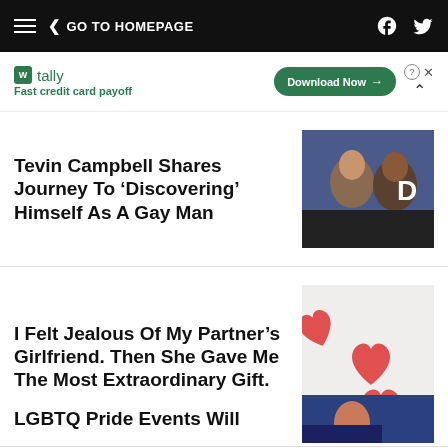GO TO HOMEPAGE
[Figure (screenshot): Tally app advertisement banner: Fast credit card payoff, Download Now button]
Tevin Campbell Shares Journey To 'Discovering' Himself As A Gay Man
[Figure (photo): Two men smiling at a formal event, partial text 'DR' visible in background]
I Felt Jealous Of My Partner's Girlfriend. Then She Gave Me The Most Extraordinary Gift.
[Figure (photo): Three red heart shapes on a light background]
LGBTQ Pride Events Will